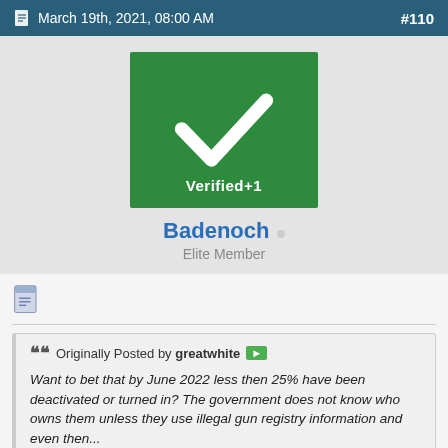March 19th, 2021, 08:00 AM  #110
[Figure (illustration): Green verified badge with white checkmark and text 'Verified+1']
Badenoch
Elite Member
Originally Posted by greatwhite
Want to bet that by June 2022 less then 25% have been deactivated or turned in? The government does not know who owns them unless they use illegal gun registry information and even then...

I highly doubt people will. Almost everyone I have known never registered their guns to begin with.